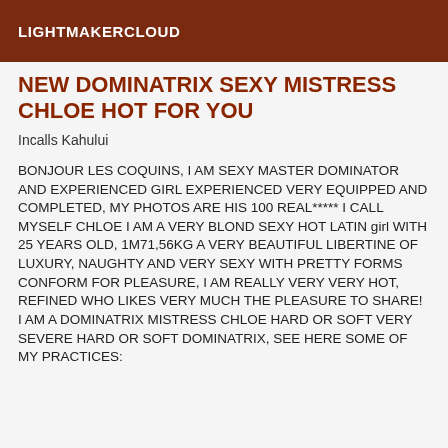LIGHTMAKERCLOUD
NEW DOMINATRIX SEXY MISTRESS CHLOE HOT FOR YOU
Incalls Kahului
BONJOUR LES COQUINS, I AM SEXY MASTER DOMINATOR AND EXPERIENCED GIRL EXPERIENCED VERY EQUIPPED AND COMPLETED, MY PHOTOS ARE HIS 100 REAL***** I CALL MYSELF CHLOE I AM A VERY BLOND SEXY HOT LATIN girl WITH 25 YEARS OLD, 1M71,56KG A VERY BEAUTIFUL LIBERTINE OF LUXURY, NAUGHTY AND VERY SEXY WITH PRETTY FORMS CONFORM FOR PLEASURE, I AM REALLY VERY VERY HOT, REFINED WHO LIKES VERY MUCH THE PLEASURE TO SHARE! I AM A DOMINATRIX MISTRESS CHLOE HARD OR SOFT VERY SEVERE HARD OR SOFT DOMINATRIX, SEE HERE SOME OF MY PRACTICES: